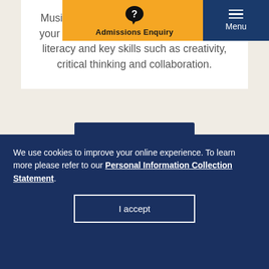Admissions Enquiry | Menu
Music can play a transformational role in your child's education, promoting cultural literacy and key skills such as creativity, critical thinking and collaboration.
We use cookies to improve your online experience. To learn more please refer to our Personal Information Collection Statement.
I accept